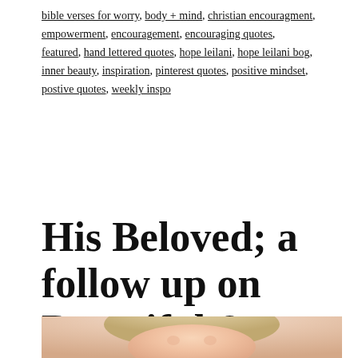bible verses for worry, body + mind, christian encouragment, empowerment, encouragement, encouraging quotes, featured, hand lettered quotes, hope leilani, hope leilani bog, inner beauty, inspiration, pinterest quotes, positive mindset, postive quotes, weekly inspo
His Beloved; a follow up on Beautiful & Beloved; Overcoming lies.
[Figure (photo): Partial photo of a person with blonde hair, cropped at bottom of page]